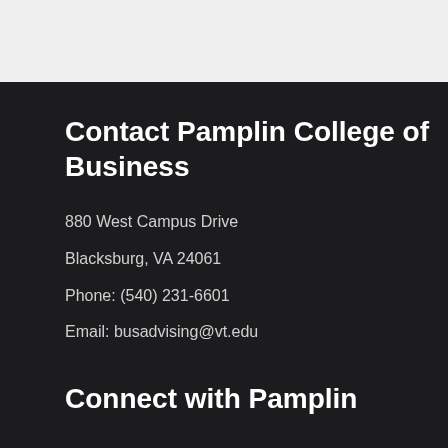Contact Pamplin College of Business
880 West Campus Drive
Blacksburg, VA 24061
Phone: (540) 231-6601
Email: busadvising@vt.edu
Connect with Pamplin